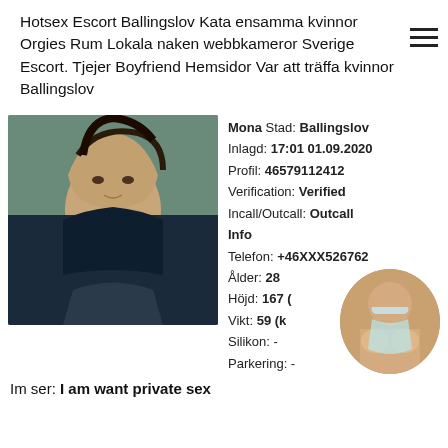Hotsex Escort Ballingslov Kata ensamma kvinnor Orgies Rum Lokala naken webbkameror Sverige Escort. Tjejer Boyfriend Hemsidor Var att träffa kvinnor Ballingslov
[Figure (photo): Portrait photo of a young woman with long dark hair, sitting in a car, wearing a dark top.]
Mona Stad: Ballingslov
Inlagd: 17:01 01.09.2020
Profil: 46579112412
Verification: Verified
Incall/Outcall: Outcall
Info
Telefon: +46XXX526762
Ålder: 28
Höjd: 167 (
Vikt: 59 (k
Silikon: -
Parkering: -
[Figure (photo): Small circular thumbnail photo of a woman holding a face mask.]
Im ser: I am want private sex